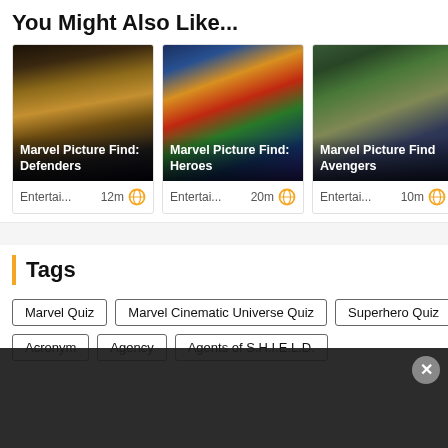You Might Also Like...
[Figure (photo): Card image for Marvel Picture Find: Defenders - dark comic art showing shadowy figures]
Marvel Picture Find: Defenders
Entertai... 12m
[Figure (photo): Card image for Marvel Picture Find: Heroes - colorful comic art showing many Marvel heroes]
Marvel Picture Find: Heroes
Entertai... 20m
[Figure (photo): Card image for Marvel Picture Find: Avengers - movie still of Avengers characters]
Marvel Picture Find: Avengers
Entertai... 10m
Tags
Marvel Quiz
Marvel Cinematic Universe Quiz
Superhero Quiz
Acronym
Agency
Agents of S.H.I.E.L.D.